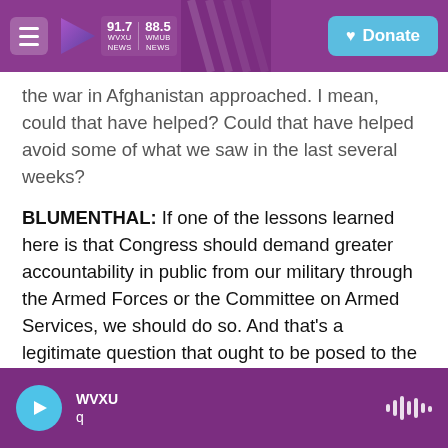WVXU 91.7 NEWS | WMUB 88.5 NEWS | Donate
the war in Afghanistan approached. I mean, could that have helped? Could that have helped avoid some of what we saw in the last several weeks?
BLUMENTHAL: If one of the lessons learned here is that Congress should demand greater accountability in public from our military through the Armed Forces or the Committee on Armed Services, we should do so. And that's a legitimate question that ought to be posed to the Congress - whether, in fact, greater transparency, public accountability and other public sources would have helped to avoid the ultimate outcome.
WVXU q